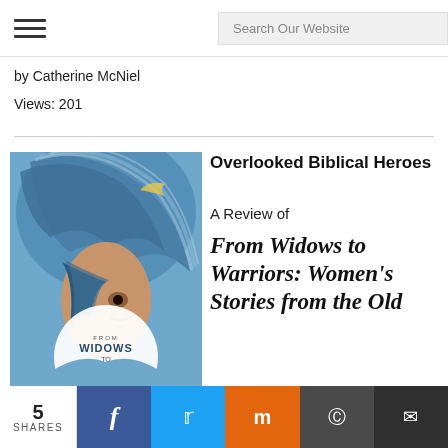Search Our Website
by Catherine McNiel
Views: 201
[Figure (photo): Book cover of 'From Widows to Warriors: Women's Stories from the Old Testament' by Lynn Japinga, featuring an artistic painting of a woman with flowing blue hair against a blue background]
Overlooked Biblical Heroes
A Review of
From Widows to Warriors: Women's Stories from the Old
5 SHARES  f  t  m  reddit  email